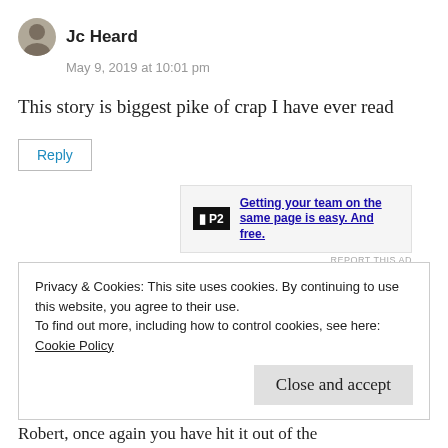Jc Heard
May 9, 2019 at 10:01 pm
This story is biggest pike of crap I have ever read
Reply
[Figure (other): P2 advertisement banner: Getting your team on the same page is easy. And free.]
REPORT THIS AD
Privacy & Cookies: This site uses cookies. By continuing to use this website, you agree to their use.
To find out more, including how to control cookies, see here:
Cookie Policy
Close and accept
Robert, once again you have hit it out of the